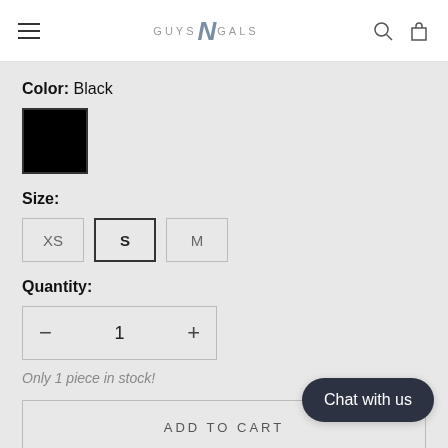GUYS N GALS
Color: Black
[Figure (other): Black color swatch square]
Size:
XS  S  M
Quantity:
— 1 +
Only 1 piece in stock!
ADD TO CART
Chat with us